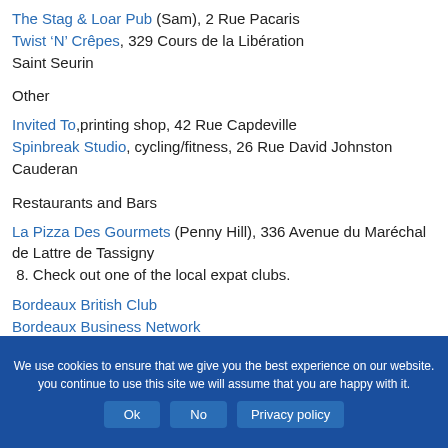The Stag & Loar Pub (Sam), 2 Rue Pacaris
Twist 'N' Crêpes, 329 Cours de la Libération
Saint Seurin
Other
Invited To, printing shop, 42 Rue Capdeville
Spinbreak Studio, cycling/fitness, 26 Rue David Johnston
Cauderan
Restaurants and Bars
La Pizza Des Gourmets (Penny Hill), 336 Avenue du Maréchal de Lattre de Tassigny
8. Check out one of the local expat clubs.
Bordeaux British Club
Bordeaux Business Network
Bordeaux Church
We use cookies to ensure that we give you the best experience on our website. you continue to use this site we will assume that you are happy with it.